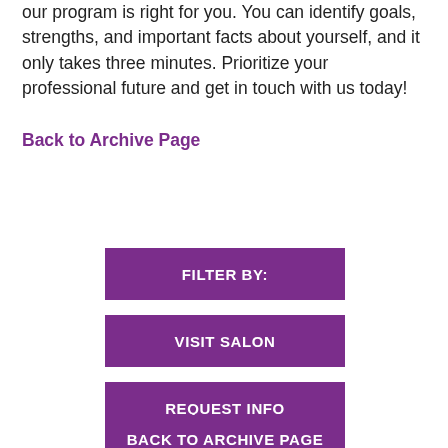our program is right for you. You can identify goals, strengths, and important facts about yourself, and it only takes three minutes. Prioritize your professional future and get in touch with us today!
Back to Archive Page
FILTER BY:
VISIT SALON
REQUEST INFO
BACK TO ARCHIVE PAGE